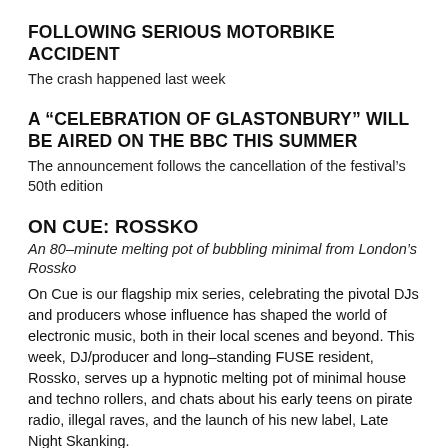FOLLOWING SERIOUS MOTORBIKE ACCIDENT
The crash happened last week
A “CELEBRATION OF GLASTONBURY” WILL BE AIRED ON THE BBC THIS SUMMER
The announcement follows the cancellation of the festival’s 50th edition
ON CUE: ROSSKO
An 80-minute melting pot of bubbling minimal from London’s Rossko
On Cue is our flagship mix series, celebrating the pivotal DJs and producers whose influence has shaped the world of electronic music, both in their local scenes and beyond. This week, DJ/producer and long-standing FUSE resident, Rossko, serves up a hypnotic melting pot of minimal house and techno rollers, and chats about his early teens on pirate radio, illegal raves, and the launch of his new label, Late Night Skanking.